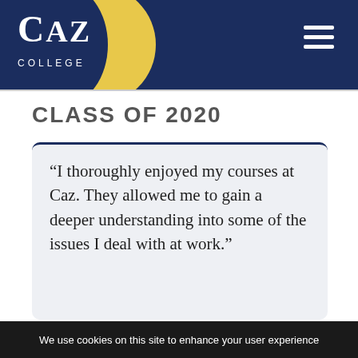CAZ COLLEGE
CLASS OF 2020
“I thoroughly enjoyed my courses at Caz. They allowed me to gain a deeper understanding into some of the issues I deal with at work.”
We use cookies on this site to enhance your user experience